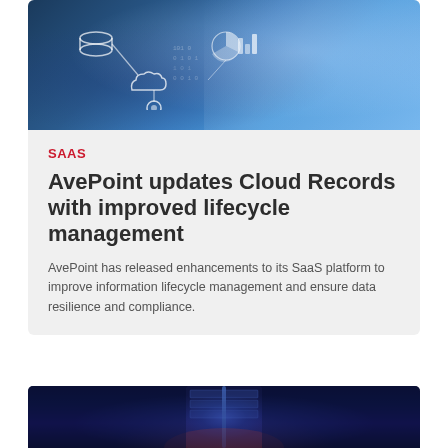[Figure (photo): Person touching a digital interface screen with cloud and data icons, blue technology background]
SAAS
AvePoint updates Cloud Records with improved lifecycle management
AvePoint has released enhancements to its SaaS platform to improve information lifecycle management and ensure data resilience and compliance.
[Figure (photo): Dark blue server room with blue glowing light and red accent at bottom]